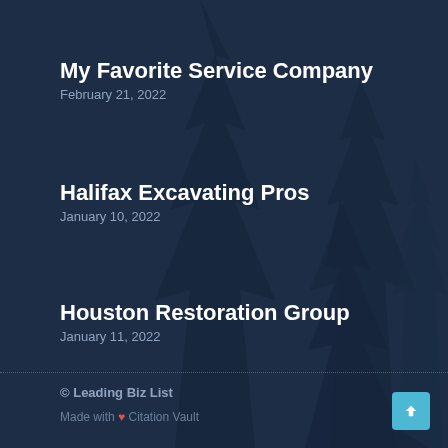My Favorite Service Company
February 21, 2022
Halifax Excavating Pros
January 10, 2022
Houston Restoration Group
January 11, 2022
© Leading Biz List
Made with ❤ Citation Vault